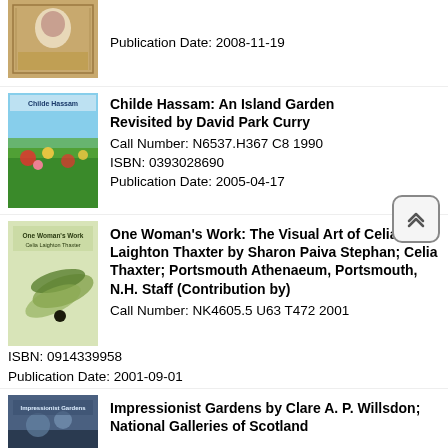[Figure (photo): Book cover with ornate pattern and portrait photo]
Publication Date: 2008-11-19
[Figure (photo): Childe Hassam Island Garden book cover showing colorful flower garden]
Childe Hassam: An Island Garden Revisited by David Park Curry
Call Number: N6537.H367 C8 1990
ISBN: 0393028690
Publication Date: 2005-04-17
[Figure (photo): One Woman's Work book cover with olive branch illustration]
One Woman's Work: The Visual Art of Celia Laighton Thaxter by Sharon Paiva Stephan; Celia Thaxter; Portsmouth Athenaeum, Portsmouth, N.H. Staff (Contribution by)
Call Number: NK4605.5 U63 T472 2001
ISBN: 0914339958
Publication Date: 2001-09-01
[Figure (photo): Impressionist Gardens book cover with garden scene]
Impressionist Gardens by Clare A. P. Willsdon; National Galleries of Scotland